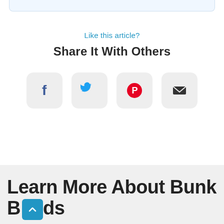Like this article?
Share It With Others
[Figure (infographic): Four social sharing icon buttons: Facebook (f), Twitter (bird), Pinterest (P), Email (envelope)]
Learn More About Bunk Beds